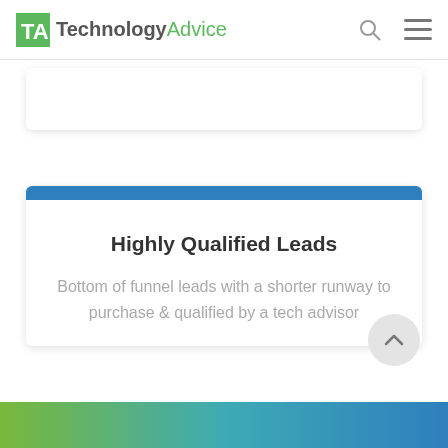[Figure (logo): TechnologyAdvice logo with green TA icon and gray/green text]
Highly Qualified Leads
Bottom of funnel leads with a shorter runway to purchase & qualified by a tech advisor